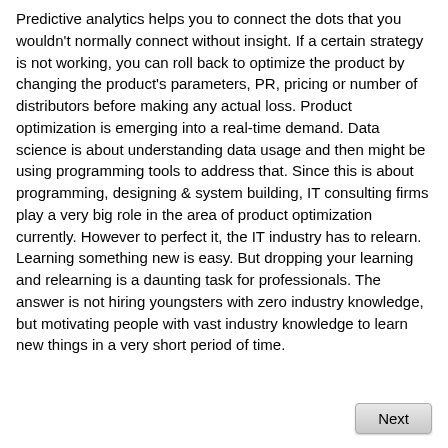Predictive analytics helps you to connect the dots that you wouldn't normally connect without insight. If a certain strategy is not working, you can roll back to optimize the product by changing the product's parameters, PR, pricing or number of distributors before making any actual loss. Product optimization is emerging into a real-time demand. Data science is about understanding data usage and then might be using programming tools to address that. Since this is about programming, designing & system building, IT consulting firms play a very big role in the area of product optimization currently. However to perfect it, the IT industry has to relearn. Learning something new is easy. But dropping your learning and relearning is a daunting task for professionals. The answer is not hiring youngsters with zero industry knowledge, but motivating people with vast industry knowledge to learn new things in a very short period of time.